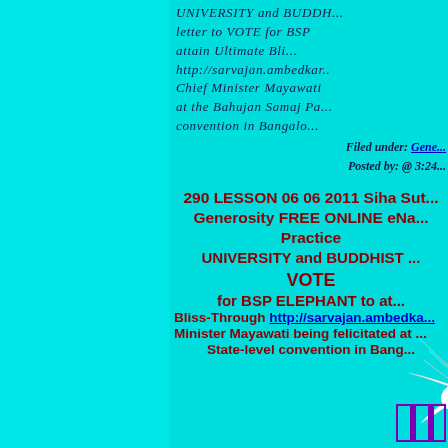UNIVERSITY and BUDDHIST ... letter to VOTE for BSP ... attain Ultimate Bli... http://sarvajan.ambedkar.... Chief Minister Mayawati ... at the Bahujan Samaj Pa... convention in Bangalo...
Filed under: Gene...
Posted by: @ 3:24...
290 LESSON 06 06 2011 Siha Sut... Generosity FREE ONLINE eNa... Practice UNIVERSITY and BUDDHIST ... VOTE for BSP ELEPHANT to at... Bliss-Through http://sarvajan.ambedka... Minister Mayawati being felicitated at ... State-level convention in Bang...
[Figure (illustration): A white dove in flight against a cyan background, with a purple logo/mark at the bottom right corner]